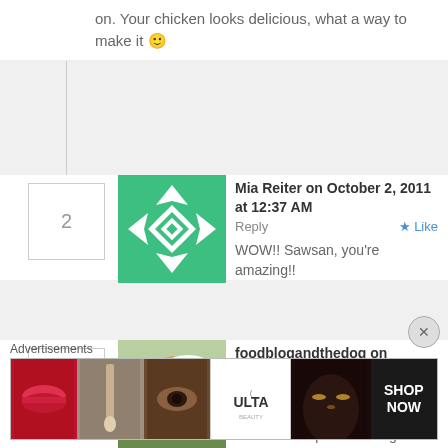on. Your chicken looks delicious, what a way to make it 🙂
Mia Reiter on October 2, 2011 at 12:37 AM   Reply  ★ Like
WOW!! Sawsan, you're amazing!!
foodblogandthedog on October 2, 2011 at 1:39 AM   Reply  ★ Like
Happy Birthday!! I try to think about all the positive things about the day when I go to bed. Your body heals itself while you sleep so I make sure only
Advertisements